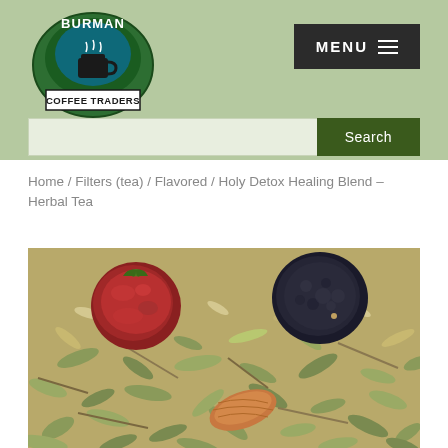Burman Coffee Traders – Header with logo, menu button, and search bar
Home / Filters (tea) / Flavored / Holy Detox Healing Blend – Herbal Tea
[Figure (photo): Close-up photo of Holy Detox Healing Blend herbal tea showing dried herbs, leaves, berries and botanicals including two round dried fruits/berries, orange-brown pods, and green dried leaf pieces]